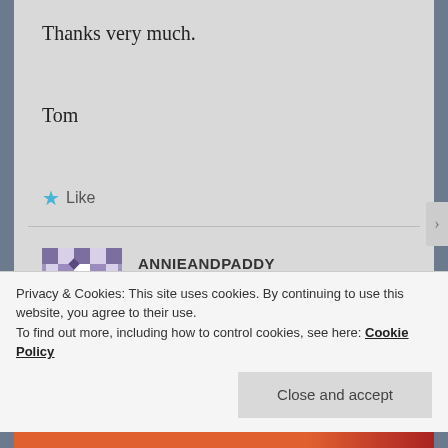Thanks very much.
Tom
Like
[Figure (other): Commenter avatar for ANNIEANDPADDY — purple and white pixel/mosaic pattern avatar]
ANNIEANDPADDY
December 1, 2016 at 5:26 pm
Yep if you send a reply here with an email and I can forward the email we have sent to
Privacy & Cookies: This site uses cookies. By continuing to use this website, you agree to their use.
To find out more, including how to control cookies, see here: Cookie Policy
Close and accept